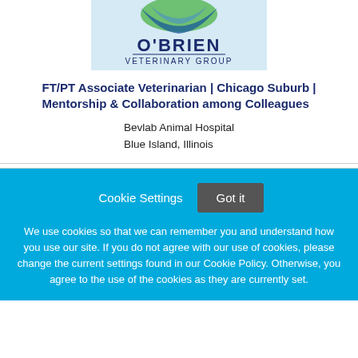[Figure (logo): O'Brien Veterinary Group logo with green and blue swoosh design above the text]
FT/PT Associate Veterinarian | Chicago Suburb | Mentorship & Collaboration among Colleagues
Bevlab Animal Hospital
Blue Island, Illinois
Cookie Settings  Got it

We use cookies so that we can remember you and understand how you use our site. If you do not agree with our use of cookies, please change the current settings found in our Cookie Policy. Otherwise, you agree to the use of the cookies as they are currently set.